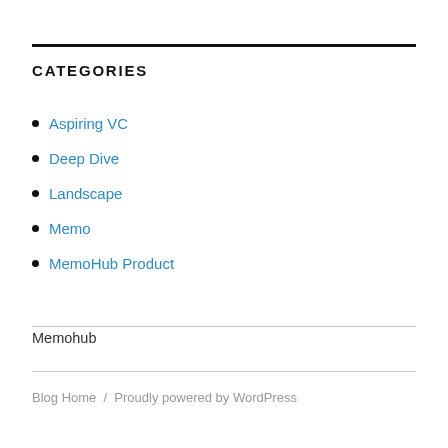CATEGORIES
Aspiring VC
Deep Dive
Landscape
Memo
MemoHub Product
Memohub
Blog Home / Proudly powered by WordPress